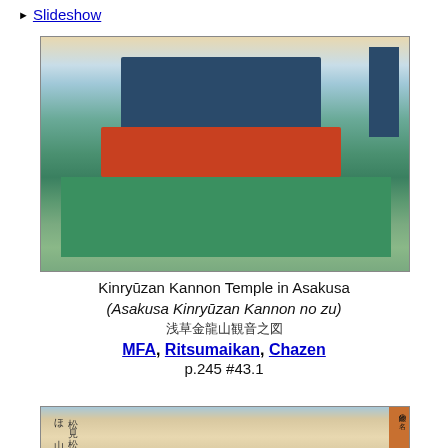▶ Slideshow
[Figure (illustration): Japanese woodblock print of Kinryuzan Kannon Temple in Asakusa, showing the main hall, gate, pagoda, and crowds of visitors in a courtyard, with trees on both sides.]
Kinryūzan Kannon Temple in Asakusa (Asakusa Kinryūzan Kannon no zu) 浅草金龍山観音之図 MFA, Ritsumaikan, Chazen p.245 #43.1
[Figure (illustration): Partial view of a second Japanese woodblock print, showing text in Japanese calligraphy on left, a pine tree shape in center-right, and an orange title cartouche on the far right.]